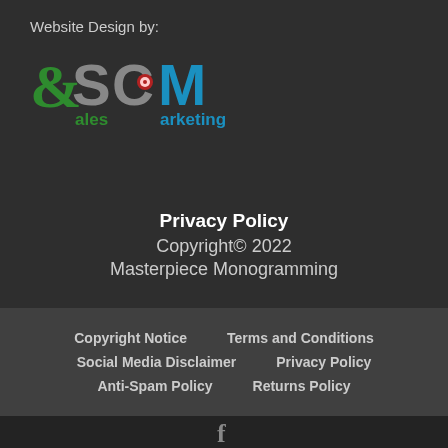Website Design by:
[Figure (logo): eSCM Sales Marketing logo with green 'e', large grey 'S', red target 'C', blue 'M', and colored 'ales' and 'arketing' text]
Privacy Policy
Copyright© 2022
Masterpiece Monogramming
Copyright Notice  Terms and Conditions  Social Media Disclaimer  Privacy Policy  Anti-Spam Policy  Returns Policy
Facebook icon